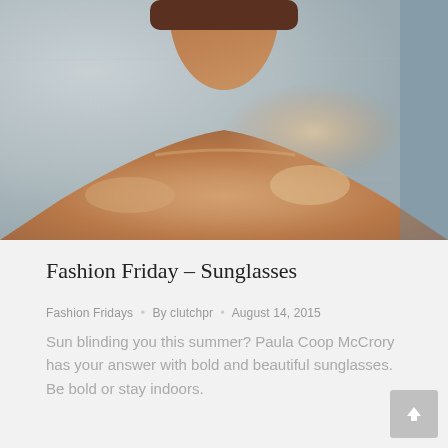[Figure (photo): Close-up photograph of a person's neck and bare shoulders against a light grey textured background, skin with warm brown tones illuminated in sunlight]
Fashion Friday – Sunglasses
Fashion Fridays • By clutchpr • August 14, 2015
Sun blinding you this summer? Paula Coop McCrory has your answer with bold and beautiful sunglasses. Be bold or stay indoors.